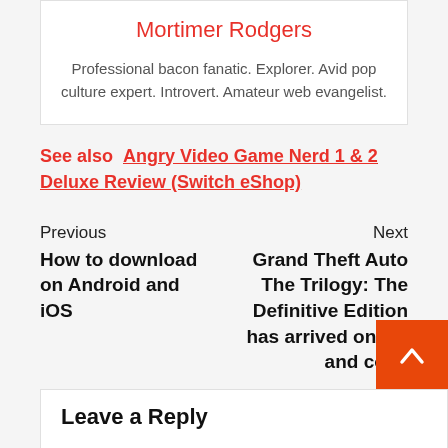Mortimer Rodgers
Professional bacon fanatic. Explorer. Avid pop culture expert. Introvert. Amateur web evangelist.
See also  Angry Video Game Nerd 1 & 2 Deluxe Review (Switch eShop)
Previous
How to download on Android and iOS
Next
Grand Theft Auto The Trilogy: The Definitive Edition has arrived on PC and cons
Leave a Reply